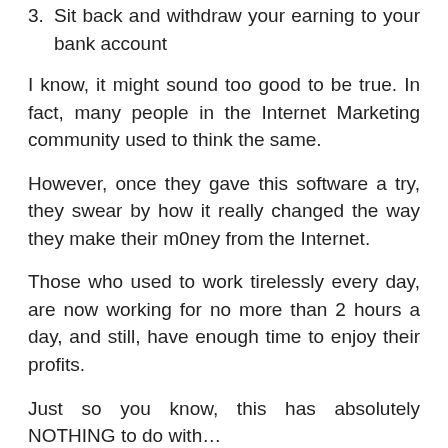3. Sit back and withdraw your earning to your bank account
I know, it might sound too good to be true. In fact, many people in the Internet Marketing community used to think the same.
However, once they gave this software a try, they swear by how it really changed the way they make their m0ney from the Internet.
Those who used to work tirelessly every day, are now working for no more than 2 hours a day, and still, have enough time to enjoy their profits.
Just so you know, this has absolutely NOTHING to do with…